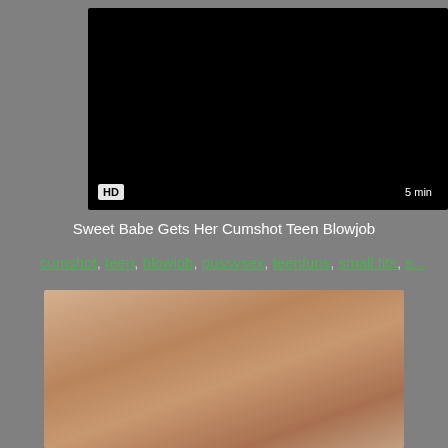[Figure (screenshot): Black video player thumbnail with HD badge and 5 min duration label]
Sweet Babe Gets Her Cumshot Teen Blowjob
cumshot, teen, blowjob, pussysex, teenfuns, small tits, s...
[Figure (photo): Partial photo of a person, skin tones visible, cropped]